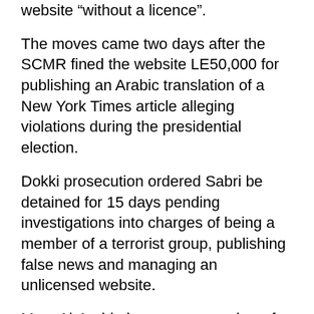website “without a licence”.
The moves came two days after the SCMR fined the website LE50,000 for publishing an Arabic translation of a New York Times article alleging violations during the presidential election.
Dokki prosecution ordered Sabri be detained for 15 days pending investigations into charges of being a member of a terrorist group, publishing false news and managing an unlicensed website.
Masr Al-Arabia is among a number of news websites blocked in May 2017 after accusations of publishing false news.
“What has happened to Adel Sabri is a violation of regulations which forbid pre-trial detention in publishing cases,” said Kassem.
Article 70 of the 2014 constitution guarantees “freedom of the press and of print and paper, visual, audio and